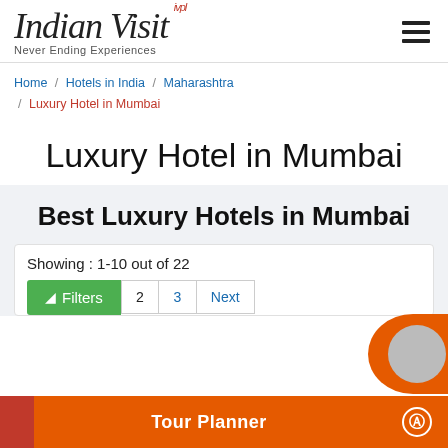Indian Visit ivpl — Never Ending Experiences
Home / Hotels in India / Maharashtra / Luxury Hotel in Mumbai
Luxury Hotel in Mumbai
Best Luxury Hotels in Mumbai
Showing : 1-10 out of 22
Filters  2  3  Next
Tour Planner